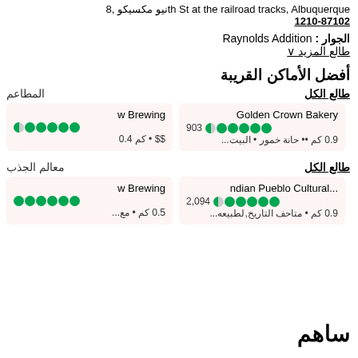نيو مكسيكو ,8th St at the railroad tracks, Albuquerque 1210-87102
الجوار: Raynolds Addition
طالع المزيد ∨
أفضل الأماكن القريبة
المطاعم
طالع الكل
Golden Crown Bakery 903 ⬤⬤⬤⬤⬤◑ 0.9 كم •• حانة خمور • البيت...
w Brewing ⬤⬤⬤⬤⬤◑ $$ • كم 0.4
معالم الجذب
طالع الكل
...ndian Pueblo Cultural 2,094 ⬤⬤⬤⬤⬤◑ 0.9 كم • متاحف التاريخ,لطبيعه...
w Brewing ⬤⬤⬤⬤⬤⬤ 0.5 كم • مع...
ساهم